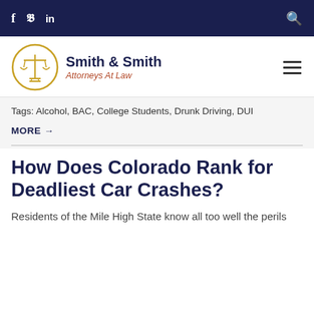f  Twitter  in  [search icon]
[Figure (logo): Smith & Smith Attorneys At Law logo with scales of justice in gold circle]
Tags: Alcohol, BAC, College Students, Drunk Driving, DUI
MORE →
How Does Colorado Rank for Deadliest Car Crashes?
Residents of the Mile High State know all too well the perils